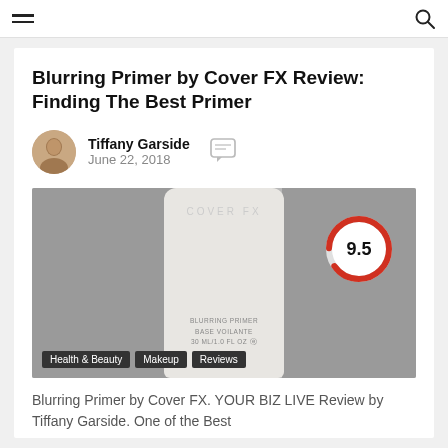Blurring Primer by Cover FX Review: Finding The Best Primer
Tiffany Garside
June 22, 2018
[Figure (photo): Photo of Cover FX Blurring Primer bottle on grey background with a 9.5 rating badge overlay. Tags: Health & Beauty, Makeup, Reviews.]
Blurring Primer by Cover FX. YOUR BIZ LIVE Review by Tiffany Garside. One of the Best